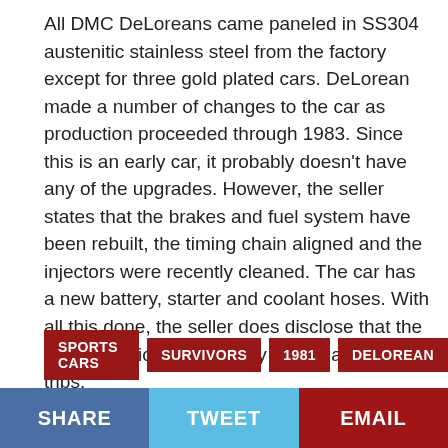All DMC DeLoreans came paneled in SS304 austenitic stainless steel from the factory except for three gold plated cars. DeLorean made a number of changes to the car as production proceeded through 1983. Since this is an early car, it probably doesn't have any of the upgrades. However, the seller states that the brakes and fuel system have been rebuilt, the timing chain aligned and the injectors were recently cleaned. The car has a new battery, starter and coolant hoses. With all this done, the seller does disclose that the car be serviced thoroughly before any long trips.
SPORTS CARS
SURVIVORS
1981
DELOREAN
DMC-12
SHARE   TWEET   EMAIL